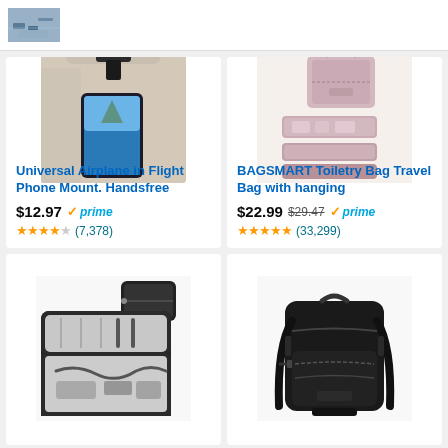[Figure (screenshot): Top partial area showing aerial/marina image thumbnail]
[Figure (photo): Universal Airplane in Flight Phone Mount attached to airplane seat tray with phone showing ocean scene]
Universal Airplane in Flight Phone Mount. Handsfree
$12.97 prime ★★★★☆ (7,378)
[Figure (photo): BAGSMART Toiletry Bag - pink hanging travel bag open showing compartments]
BAGSMART Toiletry Bag Travel Bag with hanging
$22.99 $29.47 prime ★★★★★ (33,299)
[Figure (photo): Black electronics organizer travel case open showing cables and accessories]
[Figure (photo): Black travel backpack large capacity carry-on]